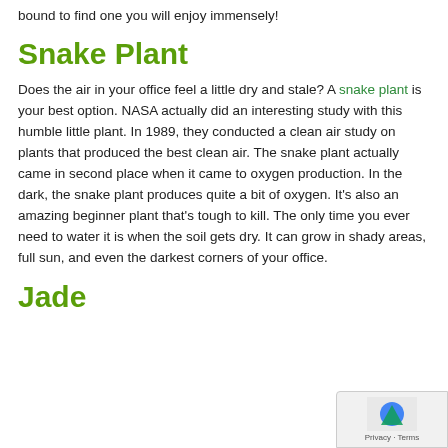bound to find one you will enjoy immensely!
Snake Plant
Does the air in your office feel a little dry and stale? A snake plant is your best option. NASA actually did an interesting study with this humble little plant. In 1989, they conducted a clean air study on plants that produced the best clean air. The snake plant actually came in second place when it came to oxygen production. In the dark, the snake plant produces quite a bit of oxygen. It's also an amazing beginner plant that's tough to kill. The only time you ever need to water it is when the soil gets dry. It can grow in shady areas, full sun, and even the darkest corners of your office.
Jade